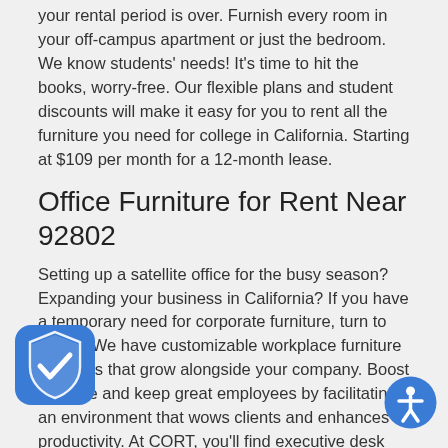your rental period is over. Furnish every room in your off-campus apartment or just the bedroom. We know students' needs! It's time to hit the books, worry-free. Our flexible plans and student discounts will make it easy for you to rent all the furniture you need for college in California. Starting at $109 per month for a 12-month lease.
Office Furniture for Rent Near 92802
Setting up a satellite office for the busy season? Expanding your business in California? If you have a temporary need for corporate furniture, turn to CORT. We have customizable workplace furniture solutions that grow alongside your company. Boost revenue and keep great employees by facilitating an environment that wows clients and enhances productivity. At CORT, you'll find executive desk chairs, sleek waiting room seating, and more corporate furniture for rent near 92802. Whether you're bracing for more foot traffic, preparing for a merger, or setting up temporary housing for employees—CORT's office furniture for rent can help keep your business "in reen!"
[Figure (illustration): Blue shield icon with white checkmark in bottom-left corner]
[Figure (illustration): Blue circular accessibility icon with person symbol in bottom-right corner]